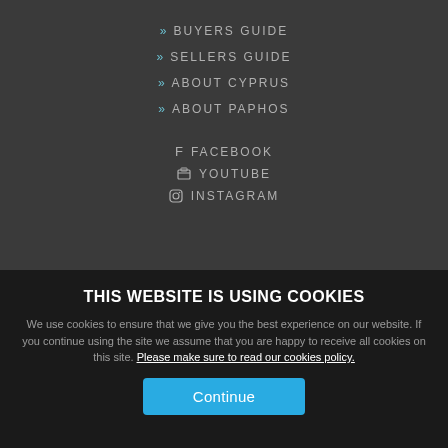» BUYERS GUIDE
» SELLERS GUIDE
» ABOUT CYPRUS
» ABOUT PAPHOS
f FACEBOOK
YOUTUBE
INSTAGRAM
THIS WEBSITE IS USING COOKIES
We use cookies to ensure that we give you the best experience on our website. If you continue using the site we assume that you are happy to receive all cookies on this site. Please make sure to read our cookies policy.
Continue